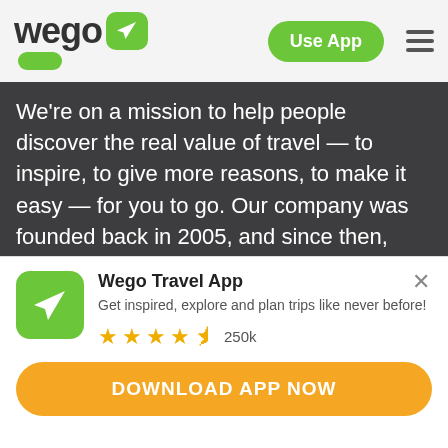[Figure (logo): Wego logo with green plane icon box and green pill shape below, with 'Use App' green button and hamburger menu on the right]
We're on a mission to help people discover the real value of travel — to inspire, to give more reasons, to make it easy — for you to go. Our company was founded back in 2005, and since then, we've imagined and created some of the most well-loved products for travelers all around the world.
Today, Wego is used by millions of people every
[Figure (logo): Wego Travel App icon — green square with white airplane]
Wego Travel App
Get inspired, explore and plan trips like never before!
★★★★½ 250k
DOWNLOAD APP NOW